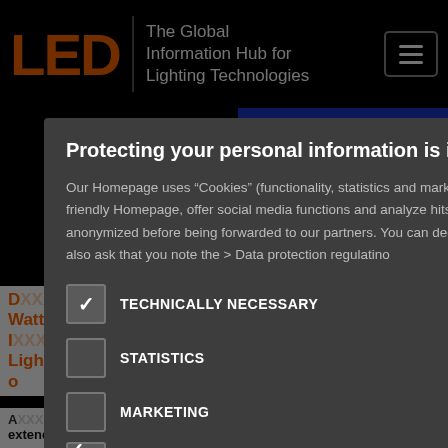[Figure (screenshot): Website screenshot showing LED magazine header with orange LED logo, tagline 'The Global Information Hub for Lighting Technologies', hamburger menu button, blue banner with text 'THE CONT', search bar, orange navigation links, and partial article heading about 60 Watt LED retrofit lamps.]
Protecting your personal information is important to us
Our Homepage uses “Cookies” (functionality, statistics and marketing cookies) in order to create a user friendly Homepage, offer social media functions and analyze hits. When necessary, information is anonymized before being forwarded to our partners. You can decide which cookies you want to allow. We also ask that you note the > Data protection regulatino
TECHNICALLY NECESSARY
STATISTICS
MARKETING